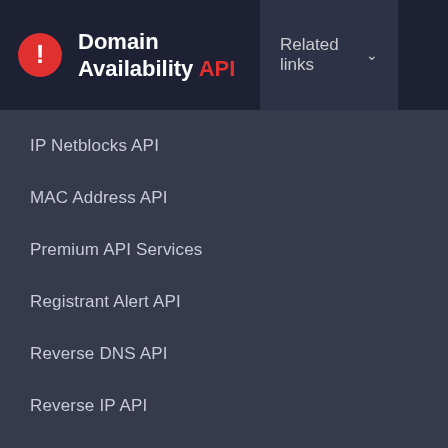Domain Availability API
Related links
IP Netblocks API
MAC Address API
Premium API Services
Registrant Alert API
Reverse DNS API
Reverse IP API
Reverse MX API
Reverse NS API
Reverse WHOIS API
Screenshot API